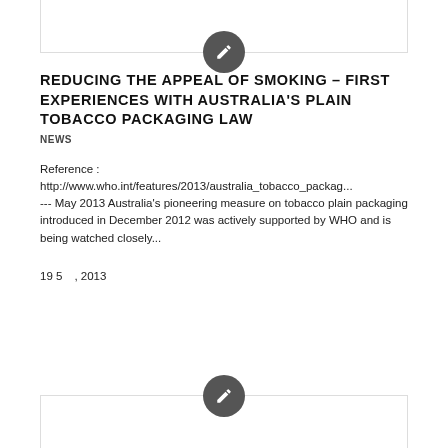[Figure (other): Dark grey circle icon with a pencil/edit symbol, centered at top of card]
REDUCING THE APPEAL OF SMOKING – FIRST EXPERIENCES WITH AUSTRALIA'S PLAIN TOBACCO PACKAGING LAW
NEWS
Reference :
http://www.who.int/features/2013/australia_tobacco_packag...
--- May 2013 Australia's pioneering measure on tobacco plain packaging introduced in December 2012 was actively supported by WHO and is being watched closely...
19 5　, 2013
[Figure (other): Dark grey circle icon with a pencil/edit symbol, centered at bottom of card]